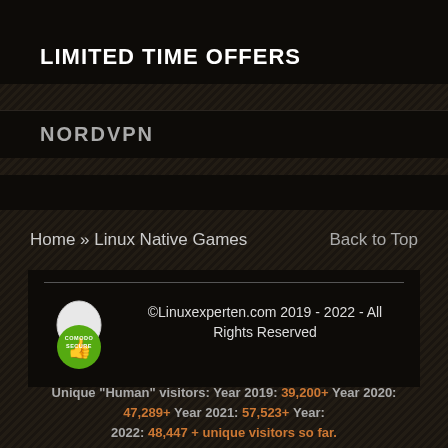LIMITED TIME OFFERS
NORDVPN
Home » Linux Native Games
Back to Top
©Linuxexperten.com 2019 - 2022 - All Rights Reserved
Unique "Human" visitors: Year 2019: 39,200+ Year 2020: 47,289+ Year 2021: 57,523+ Year: 2022: 48,447 + unique visitors so far.
This year Linux has taken 1st place with 44.7 % of our visitors and Windows takes second place